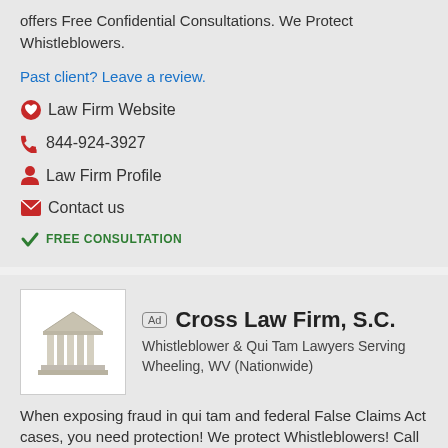offers Free Confidential Consultations. We Protect Whistleblowers.
Past client? Leave a review.
Law Firm Website
844-924-3927
Law Firm Profile
Contact us
FREE CONSULTATION
[Figure (logo): Cross Law Firm logo: a classical building/courthouse icon in beige/gray]
Cross Law Firm, S.C.
Whistleblower & Qui Tam Lawyers Serving Wheeling, WV (Nationwide)
When exposing fraud in qui tam and federal False Claims Act cases, you need protection! We protect Whistleblowers! Call